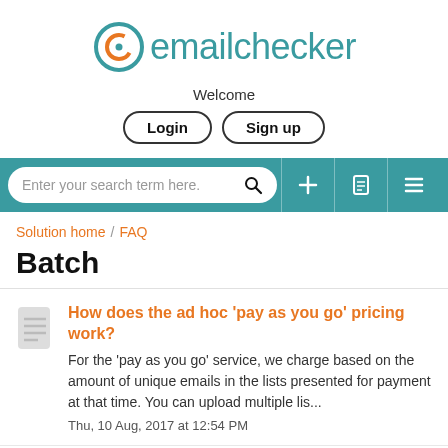[Figure (logo): emailchecker logo with teal @ symbol and teal text]
Welcome
Login  Sign up
[Figure (screenshot): Navigation bar with search box 'Enter your search term here.' and icons for add, document, and menu]
Solution home / FAQ
Batch
How does the ad hoc 'pay as you go' pricing work?
For the 'pay as you go' service, we charge based on the amount of unique emails in the lists presented for payment at that time. You can upload multiple lis...
Thu, 10 Aug, 2017 at 12:54 PM